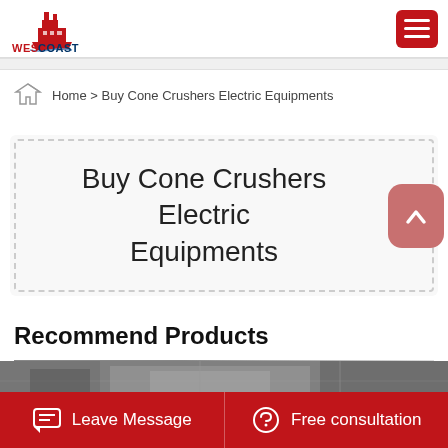[Figure (logo): Westcoast Mining Machinery Company logo with red ship graphic and blue/red text]
Home > Buy Cone Crushers Electric Equipments
Buy Cone Crushers Electric Equipments
Recommend Products
[Figure (photo): Industrial equipment/machinery shown at bottom of page]
Leave Message
Free consultation